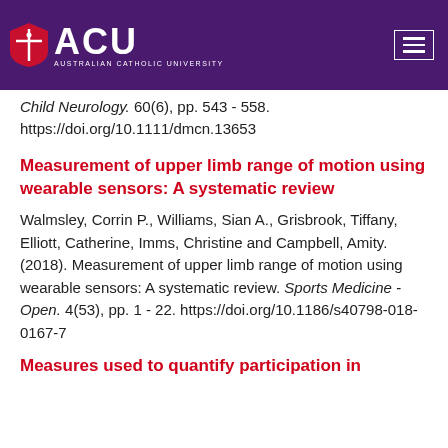[Figure (logo): Australian Catholic University (ACU) logo with shield icon and navigation hamburger menu on a dark purple header background]
Child Neurology. 60(6), pp. 543 - 558. https://doi.org/10.1111/dmcn.13653
Measurement of upper limb range of motion using wearable sensors: A systematic review
Walmsley, Corrin P., Williams, Sian A., Grisbrook, Tiffany, Elliott, Catherine, Imms, Christine and Campbell, Amity. (2018). Measurement of upper limb range of motion using wearable sensors: A systematic review. Sports Medicine - Open. 4(53), pp. 1 - 22. https://doi.org/10.1186/s40798-018-0167-7
Measures used to quantify participation in